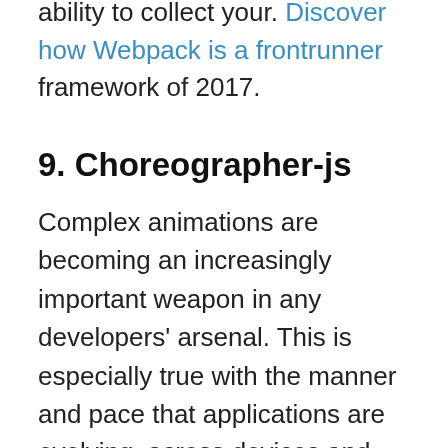applications and it is a must have for its ability to collect your. Discover how Webpack is a frontrunner framework of 2017.
9. Choreographer-js
Complex animations are becoming an increasingly important weapon in any developers' arsenal. This is especially true with the manner and pace that applications are evolving, across devices and platforms.
Choreographer-js is a humble JavaScript library capable of animating CSS. It has an uncomplicated framework that helps